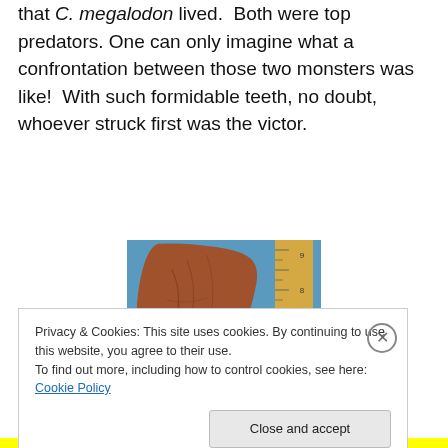that C. megalodon lived.  Both were top predators. One can only imagine what a confrontation between those two monsters was like!  With such formidable teeth, no doubt, whoever struck first was the victor.
[Figure (photo): A large fossilized tooth fragment next to a wooden ruler, photographed against a blue background. The tooth appears brown and textured, roughly 8-9 inches tall based on the ruler.]
Privacy & Cookies: This site uses cookies. By continuing to use this website, you agree to their use.
To find out more, including how to control cookies, see here: Cookie Policy
Close and accept